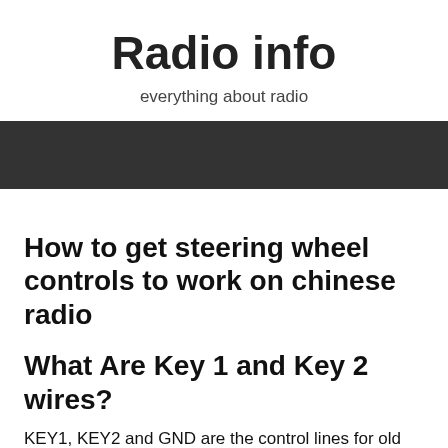Radio info
everything about radio
[Figure (other): Dark horizontal navigation bar]
How to get steering wheel controls to work on chinese radio
What Are Key 1 and Key 2 wires?
KEY1, KEY2 and GND are the control lines for old radio. Routing When a circuit (KEY1): The circuit is